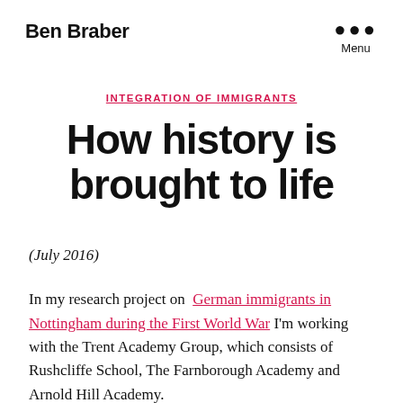Ben Braber
INTEGRATION OF IMMIGRANTS
How history is brought to life
(July 2016)
In my research project on German immigrants in Nottingham during the First World War I'm working with the Trent Academy Group, which consists of Rushcliffe School, The Farnborough Academy and Arnold Hill Academy.